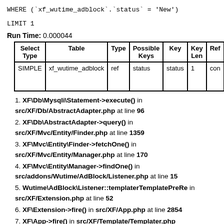Run Time: 0.000044
| Select Type | Table | Type | Possible Keys | Key | Key Len | Ref |
| --- | --- | --- | --- | --- | --- | --- |
| SIMPLE | xf_wutime_adblock | ref | status | status | 1 | con |
XF\Db\Mysqli\Statement->execute() in src/XF/Db/AbstractAdapter.php at line 96
XF\Db\AbstractAdapter->query() in src/XF/Mvc/Entity/Finder.php at line 1359
XF\Mvc\Entity\Finder->fetchOne() in src/XF/Mvc/Entity/Manager.php at line 170
XF\Mvc\Entity\Manager->findOne() in src/addons/Wutime/AdBlock/Listener.php at line 15
Wutime\AdBlock\Listener::templaterTemplatePreRe in src/XF/Extension.php at line 52
XF\Extension->fire() in src/XF/App.php at line 2854
XF\App->fire() in src/XF/Template/Templater.php